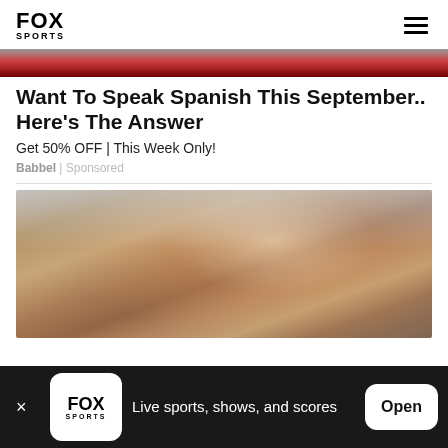FOX SPORTS
[Figure (photo): Top portion of a Babbel advertisement image showing a woman, partially cropped with red overlay]
Want To Speak Spanish This September.. Here's The Answer
Get 50% OFF | This Week Only!
Babbel | Sponsored
[Figure (photo): Woman drinking from a mason jar with a straw, outdoors with blurred background]
Live sports, shows, and scores